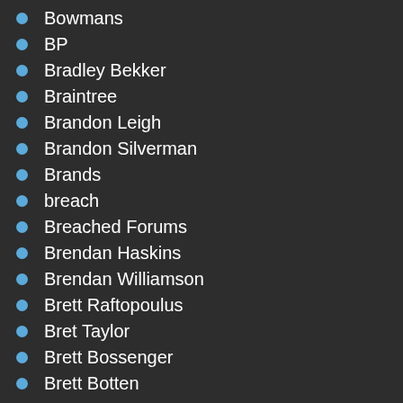Bowmans
BP
Bradley Bekker
Braintree
Brandon Leigh
Brandon Silverman
Brands
breach
Breached Forums
Brendan Haskins
Brendan Williamson
Brett Raftopoulus
Bret Taylor
Brett Bossenger
Brett Botten